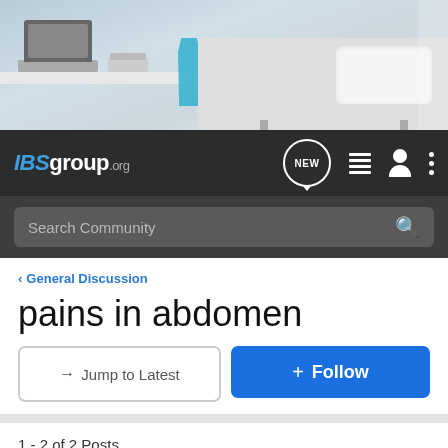[Figure (photo): Hero banner image showing a white desk with laptop and a blue chair on the left, and a white medical/bedroom bed on the right, light blue-grey background]
IBSgroup.org
Search Community
< General Discussion
pains in abdomen
→ Jump to Latest
+ Follow
1 - 2 of 2 Posts
Guest ·